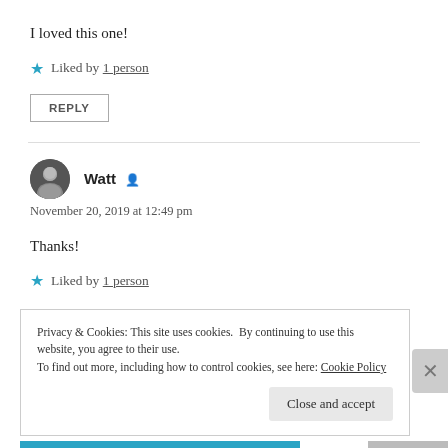I loved this one!
★ Liked by 1 person
REPLY
Watt
November 20, 2019 at 12:49 pm
Thanks!
★ Liked by 1 person
Privacy & Cookies: This site uses cookies. By continuing to use this website, you agree to their use.
To find out more, including how to control cookies, see here: Cookie Policy
Close and accept